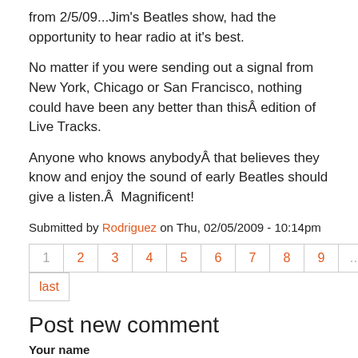from 2/5/09...Jim's Beatles show, had the opportunity to hear radio at it's best.
No matter if you were sending out a signal from New York, Chicago or San Francisco, nothing could have been any better than thisÂ edition of Live Tracks.
Anyone who knows anybodyÂ that believes they know and enjoy the sound of early Beatles should give a listen.Â  Magnificent!
Submitted by Rodriguez on Thu, 02/05/2009 - 10:14pm
| 1 | 2 | 3 | 4 | 5 | 6 | 7 | 8 | 9 | ... | next |
| --- | --- | --- | --- | --- | --- | --- | --- | --- | --- | --- |
| last |
Post new comment
Your name